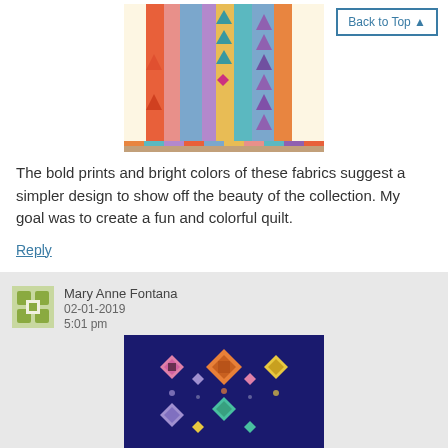[Figure (photo): Colorful quilt with geometric triangle patterns in rows of orange, pink, teal, blue, purple, and gold on white background]
The bold prints and bright colors of these fabrics suggest a simpler design to show off the beauty of the collection. My goal was to create a fun and colorful quilt.
Reply
Mary Anne Fontana
02-01-2019
5:01 pm
[Figure (photo): Quilt with diamond and square geometric patterns in pink, orange, yellow, teal, lavender on dark navy blue background]